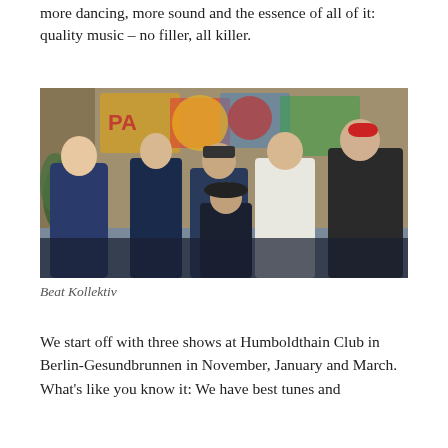more dancing, more sound and the essence of all of it: quality music – no filler, all killer.
[Figure (photo): Group photo of six men (Beat Kollektiv) posing in front of a graffiti-covered wall. The men are smiling and making hand gestures. Some wear dark jackets and one wears a cap.]
Beat Kollektiv
We start off with three shows at Humboldthain Club in Berlin-Gesundbrunnen in November, January and March. What's like you know it: We have best tunes and